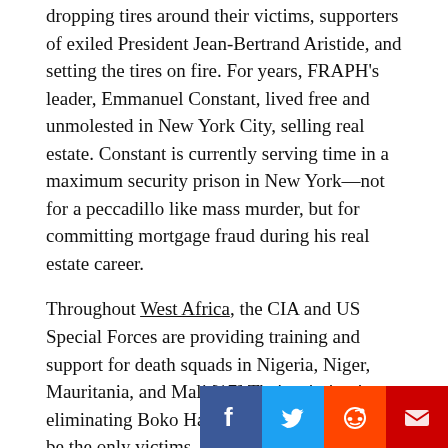dropping tires around their victims, supporters of exiled President Jean-Bertrand Aristide, and setting the tires on fire. For years, FRAPH's leader, Emmanuel Constant, lived free and unmolested in New York City, selling real estate. Constant is currently serving time in a maximum security prison in New York—not for a peccadillo like mass murder, but for committing mortgage fraud during his real estate career.
Throughout West Africa, the CIA and US Special Forces are providing training and support for death squads in Nigeria, Niger, Mauritania, and Mali.[17] Their mission is eliminating Boko Haram, but militants won't be the only victims. Death squads are not finicky about collateral damage among noncombatants (not like US drones are).
Dissing the Empire
Duterte's real crime is not extrajudicial killings; dissing the US Empire. Go along with US dictates and